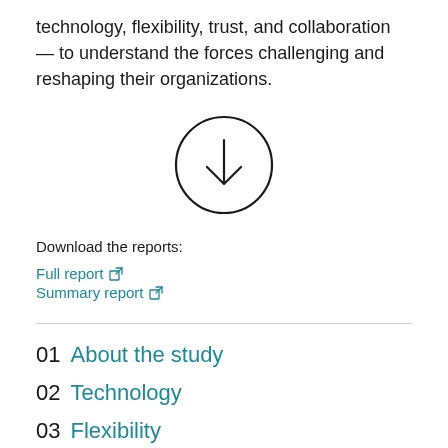technology, flexibility, trust, and collaboration — to understand the forces challenging and reshaping their organizations.
[Figure (illustration): A circle with a downward-pointing arrow inside, indicating a download action.]
Download the reports:
Full report ↗
Summary report ↗
01 About the study
02 Technology
03 Flexibility